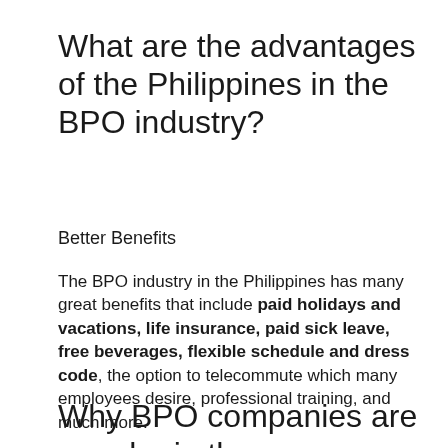What are the advantages of the Philippines in the BPO industry?
Better Benefits
The BPO industry in the Philippines has many great benefits that include paid holidays and vacations, life insurance, paid sick leave, free beverages, flexible schedule and dress code, the option to telecommute which many employees desire, professional training, and much more.
Why BPO companies are popular in the Philippines?